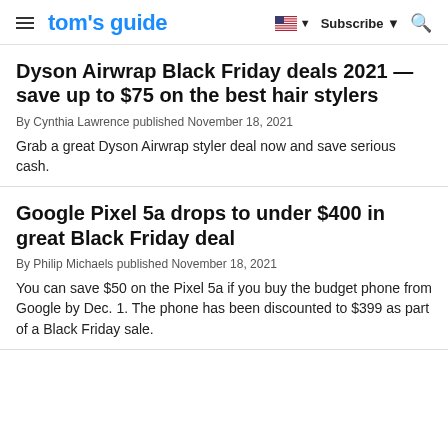tom's guide | Subscribe
Dyson Airwrap Black Friday deals 2021 — save up to $75 on the best hair stylers
By Cynthia Lawrence published November 18, 2021
Grab a great Dyson Airwrap styler deal now and save serious cash.
Google Pixel 5a drops to under $400 in great Black Friday deal
By Philip Michaels published November 18, 2021
You can save $50 on the Pixel 5a if you buy the budget phone from Google by Dec. 1. The phone has been discounted to $399 as part of a Black Friday sale.